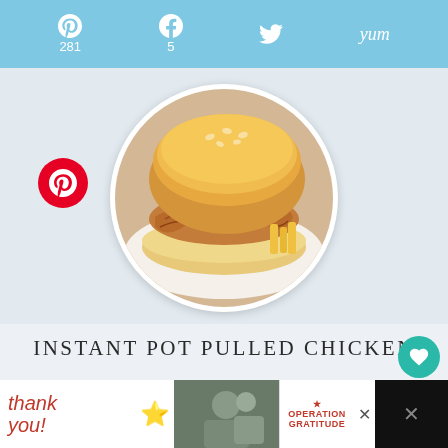Social sharing bar: Pinterest 281, Facebook 5, Twitter, Yum
[Figure (photo): Circular cropped photo of an Instant Pot pulled chicken sandwich on a bun, with fries in background]
INSTANT POT PULLED CHICKEN
yield: 4   prep time: 10 MINUTES
cook time: 25 MINUTES
additional time: 10 MINUTES
total time: 45 MINUTES
[Figure (photo): Advertisement banner: Thank You military Operation Gratitude ad]